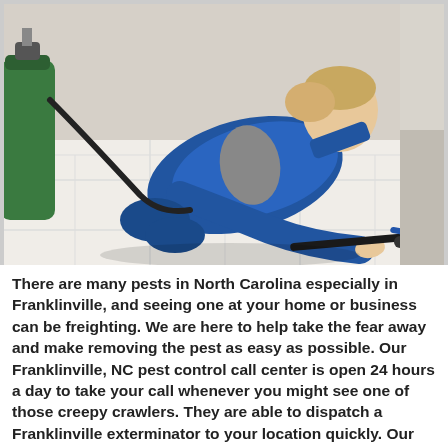[Figure (photo): A pest control worker wearing a blue uniform is crouched on a white tiled floor, using a caulking gun or applicator tool along the baseboard. A green spray tank is visible in the foreground left.]
There are many pests in North Carolina especially in Franklinville, and seeing one at your home or business can be freighting. We are here to help take the fear away and make removing the pest as easy as possible. Our Franklinville, NC pest control call center is open 24 hours a day to take your call whenever you might see one of those creepy crawlers. They are able to dispatch a Franklinville exterminator to your location quickly. Our exterminators